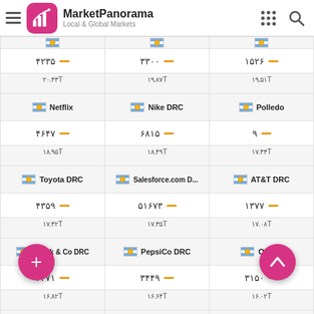MarketPanorama – Local & Global Markets
| Col1 | Col2 | Col3 |
| --- | --- | --- |
| ۴۲۳۵ — | ۳۳۰۰ — | ۱۵۲۶ — |
| ۲۰.۴۳T | ۱۹.۸۷T | ۱۹.۵۱T |
| 🇦🇷 Netflix | 🇦🇷 Nike DRC | 🇦🇷 Polledo |
| ۴۶۴۷ — | ۶۸۱۵ — | ۹ — |
| ۱۸.۹۵T | ۱۸.۴۹T | ۱۷.۴۳T |
| 🇦🇷 Toyota DRC | 🇦🇷 Salesforce.com D... | 🇦🇷 AT&T DRC |
| ۴۳۵۹ — | ۵۱۶۷۳ — | ۱۳۷۷ — |
| ۱۷.۴۲T | ۱۷.۳۵T | ۱۷.۰۸T |
| 🇦🇷 Merck & Co DRC | 🇦🇷 PepsiCo DRC | 🇦🇷 Oracle |
| ۲۲۷۱ — | ۳۴۴۹ — | ۳۱۵۰ — |
| ۱۶.۸۲T | ۱۶.۶۴T | ۱۶.۰۲T |
| 🇦🇷 Intel DRC | 🇦🇷 Abbott Laboratories | 🇦🇷 Cisco Systems... |